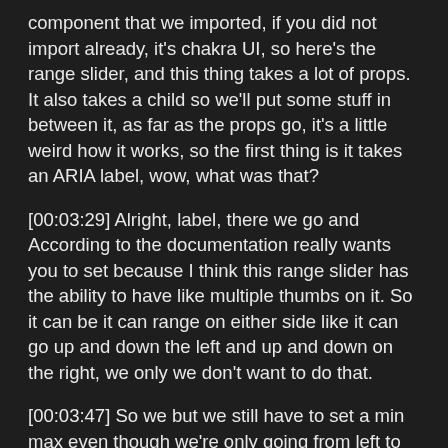component that we imported, if you did not import already, it's chakra UI, so here's the range slider, and this thing takes a lot of props. It also takes a child so we'll put some stuff in between it, as far as the props go, it's a little weird how it works, so the first thing is it takes an ARIA label, wow, what was that?
[00:03:29] Alright, label, there we go and According to the documentation really wants you to set because I think this range slider has the ability to have like multiple thumbs on it. So it can be it can range on either side like it can go up and down the left and up and down on the right, we only we don't want to do that.
[00:03:47] So we but we still have to set a min max even though we're only going from left to right So we'll save min max here on ARIA. You